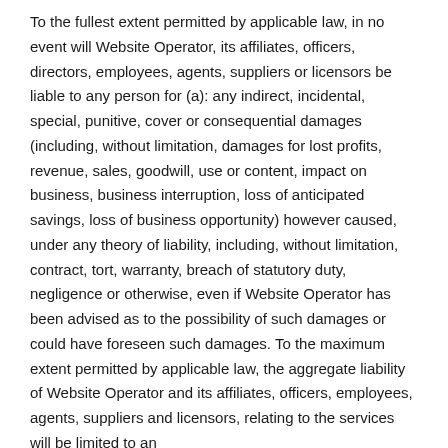To the fullest extent permitted by applicable law, in no event will Website Operator, its affiliates, officers, directors, employees, agents, suppliers or licensors be liable to any person for (a): any indirect, incidental, special, punitive, cover or consequential damages (including, without limitation, damages for lost profits, revenue, sales, goodwill, use or content, impact on business, business interruption, loss of anticipated savings, loss of business opportunity) however caused, under any theory of liability, including, without limitation, contract, tort, warranty, breach of statutory duty, negligence or otherwise, even if Website Operator has been advised as to the possibility of such damages or could have foreseen such damages. To the maximum extent permitted by applicable law, the aggregate liability of Website Operator and its affiliates, officers, employees, agents, suppliers and licensors, relating to the services will be limited to an